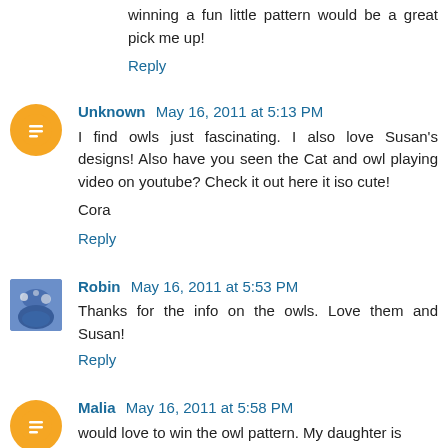winning a fun little pattern would be a great pick me up!
Reply
Unknown May 16, 2011 at 5:13 PM
I find owls just fascinating. I also love Susan's designs! Also have you seen the Cat and owl playing video on youtube? Check it out here it iso cute!

Cora
Reply
Robin May 16, 2011 at 5:53 PM
Thanks for the info on the owls. Love them and Susan!
Reply
Malia May 16, 2011 at 5:58 PM
would love to win the owl pattern. My daughter is